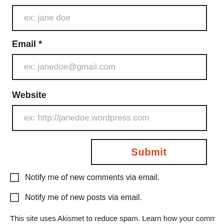ex: jane doe
Email *
ex: janedoe@gmail.com
Website
ex: http://janedoe.wordpress.com
Submit
Notify me of new comments via email.
Notify me of new posts via email.
This site uses Akismet to reduce spam. Learn how your comment data is processed.